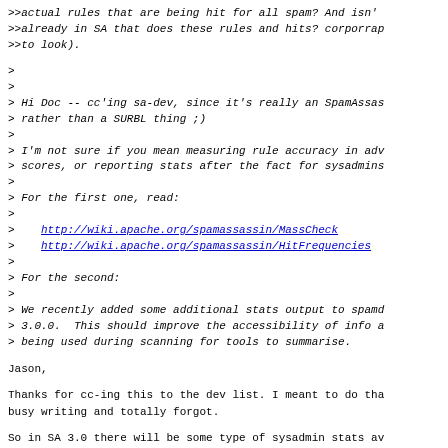>>actual rules that are being hit for all spam? And isn't
>>already in SA that does these rules and hits? corporrap
>>to look).
>
>
> Hi Doc -- cc'ing sa-dev, since it's really an SpamAssas
> rather than a SURBL thing ;)
>
> I'm not sure if you mean measuring rule accuracy in adv
> scores, or reporting stats after the fact for sysadmins
>
> For the first one, read:
>
>    http://wiki.apache.org/spamassassin/MassCheck
>    http://wiki.apache.org/spamassassin/HitFrequencies
>
> For the second:
>
> We recently added some additional stats output to spamd
> 3.0.0.  This should improve the accessibility of info a
> being used during scanning for tools to summarise.
Jason,
Thanks for cc-ing this to the dev list. I meant to do tha
busy writing and totally forgot.
So in SA 3.0 there will be some type of sysadmin stats av
I'll just rethink what I was trying to do and focus on ot